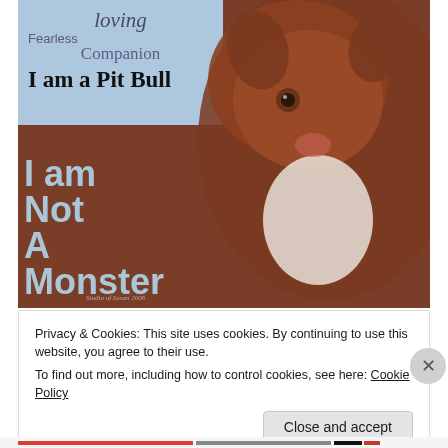[Figure (photo): A brown and white Pit Bull dog photographed against a white background, overlaid with text on a blue banner reading 'loving', 'Fearless', 'Companion', 'I am a Pit Bull', and large text overlay reading 'I am Not A Monster'. Watermark reads 'Studio of Susan 2006'.]
Privacy & Cookies: This site uses cookies. By continuing to use this website, you agree to their use.
To find out more, including how to control cookies, see here: Cookie Policy
Close and accept